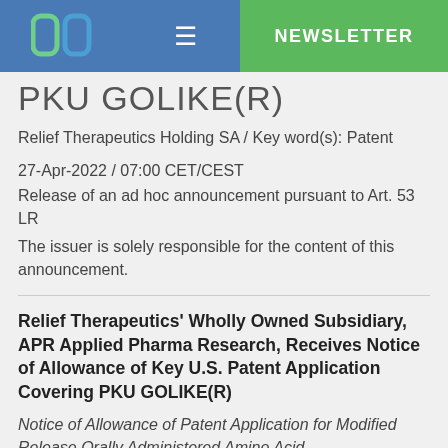NEWSLETTER
PKU GOLIKE(R)
Relief Therapeutics Holding SA / Key word(s): Patent
27-Apr-2022 / 07:00 CET/CEST
Release of an ad hoc announcement pursuant to Art. 53 LR
The issuer is solely responsible for the content of this announcement.
Relief Therapeutics' Wholly Owned Subsidiary, APR Applied Pharma Research, Receives Notice of Allowance of Key U.S. Patent Application Covering PKU GOLIKE(R)
Notice of Allowance of Patent Application for Modified Release Orally Administered Amino Acid